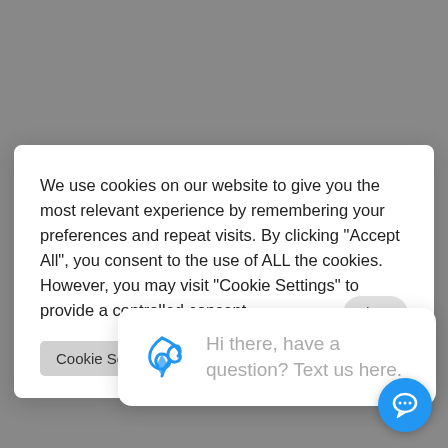for most ear anatomies and hearing needs so there is no wait as with other in-the-ear devices.
We use cookies on our website to give you the most relevant experience by remembering your preferences and repeat visits. By clicking “Accept All”, you consent to the use of ALL the cookies. However, you may visit “Cookie Settings” to provide a controlled consent.
Cookie Settings
[Figure (screenshot): Chat popup with logo icon and text: Hi there, have a question? Text us here.]
[Figure (other): Blue circular chat button with speech bubble icon]